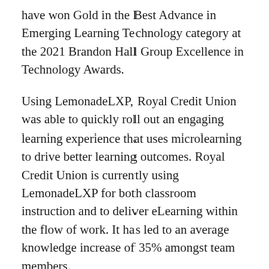have won Gold in the Best Advance in Emerging Learning Technology category at the 2021 Brandon Hall Group Excellence in Technology Awards.
Using LemonadeLXP, Royal Credit Union was able to quickly roll out an engaging learning experience that uses microlearning to drive better learning outcomes. Royal Credit Union is currently using LemonadeLXP for both classroom instruction and to deliver eLearning within the flow of work. It has led to an average knowledge increase of 35% amongst team members.
“While we’re always excited to win Brandon Hall awards, this one’s special because we won it with Royal Credit Union,” said John Findlay, Founder and CEO of LemonadeLXP. “LemonadeLXP’s mission is